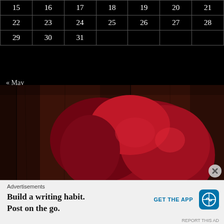| 15 | 16 | 17 | 18 | 19 | 20 | 21 |
| 22 | 23 | 24 | 25 | 26 | 27 | 28 |
| 29 | 30 | 31 |  |  |  |  |
« May
[Figure (photo): Portrait of a woman with bright red/crimson wavy hair against a dark wooden background, looking toward camera]
Advertisements
Build a writing habit. Post on the go.
GET THE APP